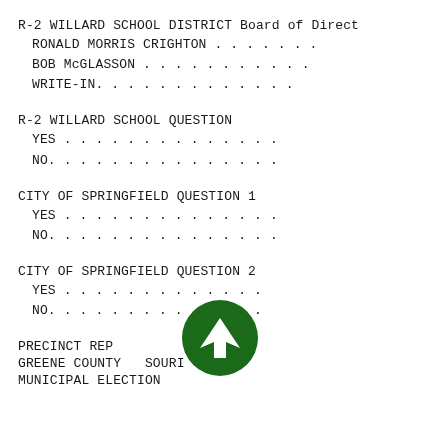R-2 WILLARD SCHOOL DISTRICT Board of Direct
RONALD MORRIS CRIGHTON . . . . . . .
BOB McGLASSON . . . . . . . . . . .
WRITE-IN. . . . . . . . . . . . .
R-2 WILLARD SCHOOL QUESTION
YES . . . . . . . . . . . . . .
NO. . . . . . . . . . . . . . .
CITY OF SPRINGFIELD QUESTION 1
YES . . . . . . . . . . . . . .
NO. . . . . . . . . . . . . . .
CITY OF SPRINGFIELD QUESTION 2
YES . . . . . . . . . . . . .
NO. . . . . . . . . . . . . .
PRECINCT REP
GREENE COUNTY, SOURI
MUNICIPAL ELECTION
[Figure (other): Green circular arrow icon pointing upward (navigation/scroll arrow)]